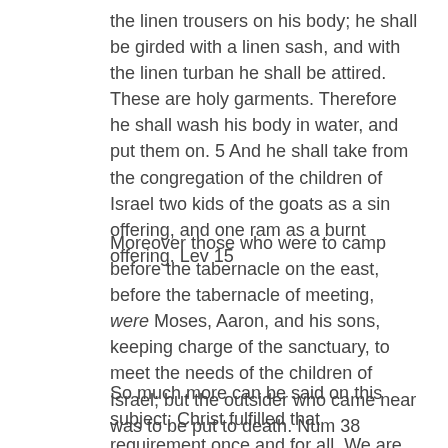the linen trousers on his body; he shall be girded with a linen sash, and with the linen turban he shall be attired. These are holy garments. Therefore he shall wash his body in water, and put them on. 5 And he shall take from the congregation of the children of Israel two kids of the goats as a sin offering, and one ram as a burnt offering. Lev 15
Moreover those who were to camp before the tabernacle on the east, before the tabernacle of meeting, were Moses, Aaron, and his sons, keeping charge of the sanctuary, to meet the needs of the children of Israel; but the outsider who came near was to be put to death. Num 38
So much more can be said on this subject; Christ fulfilled that requirement once and for all. We are now able to approach God boldly.